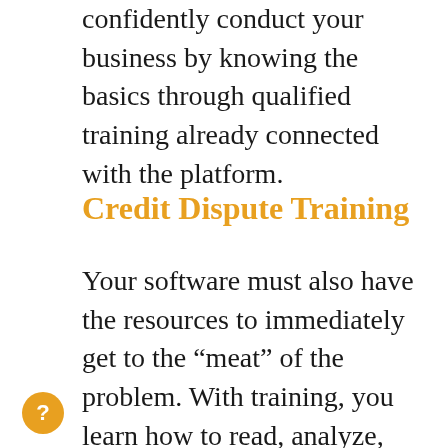confidently conduct your business by knowing the basics through qualified training already connected with the platform.
Credit Dispute Training
Your software must also have the resources to immediately get to the “meat” of the problem. With training, you learn how to read, analyze, and interpret credit reports that lead to the submission of proper disputes that bring